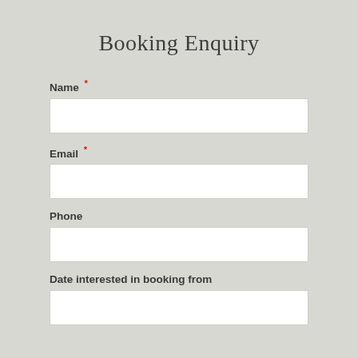Booking Enquiry
Name *
Email *
Phone
Date interested in booking from